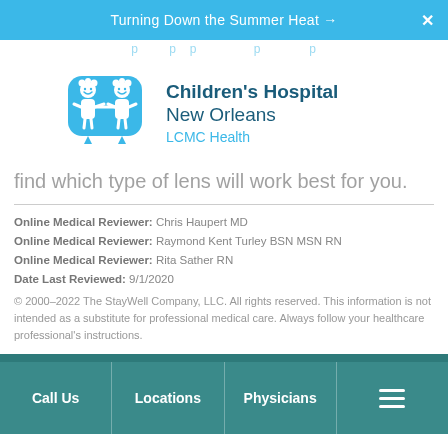Turning Down the Summer Heat →  X
find which type of lens will work best for you.
[Figure (logo): Children's Hospital New Orleans LCMC Health logo — two illustrated children figures in teal above the hospital name]
Children's Hospital New Orleans LCMC Health
find which type of lens will work best for you.
Online Medical Reviewer: Chris Haupert MD
Online Medical Reviewer: Raymond Kent Turley BSN MSN RN
Online Medical Reviewer: Rita Sather RN
Date Last Reviewed: 9/1/2020
© 2000–2022 The StayWell Company, LLC. All rights reserved. This information is not intended as a substitute for professional medical care. Always follow your healthcare professional's instructions.
Call Us   Locations   Physicians   ☰